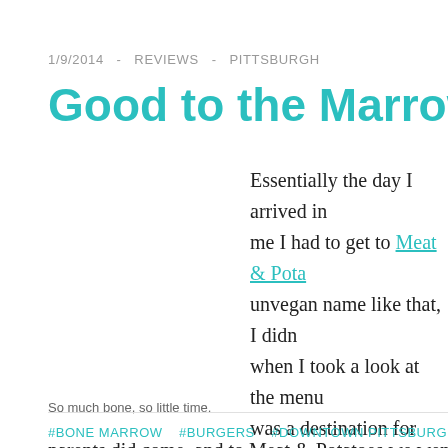1/9/2014  -  REVIEWS  -  PITTSBURGH
Good to the Marrow at Meat
Essentially the day I arrived in me I had to get to Meat & Pota... unvegan name like that, I didn... when I took a look at the menu... was a destination for when par... whole being a student thing ca...
So much bone, so little time.
parents did come, and to Meat & Potatoes we went.
#BONE MARROW  #BURGERS  #DOWNTOWN PITTSBURGH  #FRIED CH